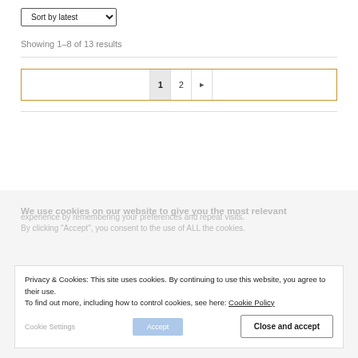Sort by latest
Showing 1–8 of 13 results
[Figure (other): Pagination control with cells: empty left space, page 1 (active/highlighted), page 2, next arrow, empty right space. Bordered in gold/amber color.]
We use cookies on our website to give you the most relevant
Privacy & Cookies: This site uses cookies. By continuing to use this website, you agree to their use. To find out more, including how to control cookies, see here: Cookie Policy
Close and accept